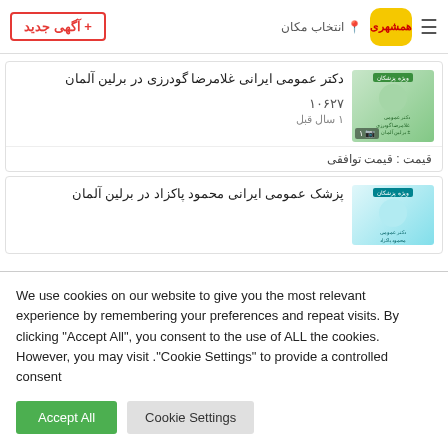+ آگهی جدید | انتخاب مکان | همشهری logo
دکتر عمومی ایرانی غلامرضا گودرزی در برلین آلمان
۱۰۶۲۷
۱ سال قبل
قیمت : قیمت توافقی
پزشک عمومی ایرانی محمود پاکزاد در برلین آلمان
We use cookies on our website to give you the most relevant experience by remembering your preferences and repeat visits. By clicking "Accept All", you consent to the use of ALL the cookies. However, you may visit "Cookie Settings" to provide a controlled consent.